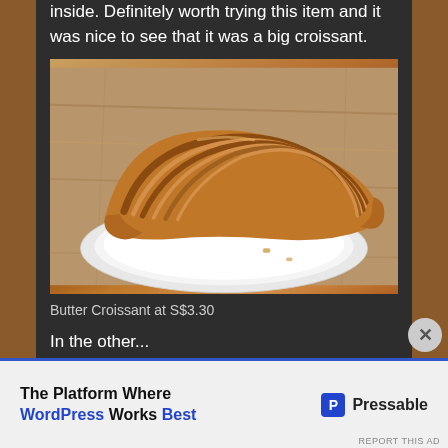inside. Definitely worth trying this item and it was nice to see that it was a big croissant.
[Figure (photo): A large golden-brown butter croissant on a white round plate, placed on a wooden table surface.]
Butter Croissant at S$3.30
In the other...
The Platform Where WordPress Works Best — Pressable